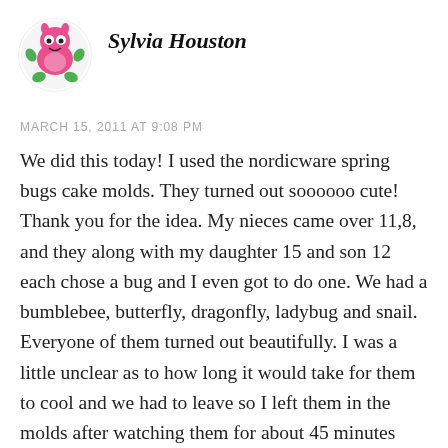[Figure (illustration): Avatar icon of a cartoon pink monster/bug character with green limbs on a white circular background]
Sylvia Houston
MARCH 15, 2011 AT 9:08 PM
We did this today! I used the nordicware spring bugs cake molds. They turned out soooooo cute! Thank you for the idea. My nieces came over 11,8, and they along with my daughter 15 and son 12 each chose a bug and I even got to do one. We had a bumblebee, butterfly, dragonfly, ladybug and snail. Everyone of them turned out beautifully. I was a little unclear as to how long it would take for them to cool and we had to leave so I left them in the molds after watching them for about 45 minutes and they were still